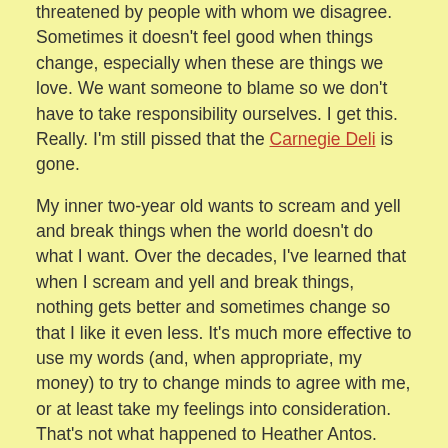threatened by people with whom we disagree. Sometimes it doesn't feel good when things change, especially when these are things we love. We want someone to blame so we don't have to take responsibility ourselves. I get this. Really. I'm still pissed that the Carnegie Deli is gone.

My inner two-year old wants to scream and yell and break things when the world doesn't do what I want. Over the decades, I've learned that when I scream and yell and break things, nothing gets better and sometimes change so that I like it even less. It's much more effective to use my words (and, when appropriate, my money) to try to change minds to agree with me, or at least take my feelings into consideration. That's not what happened to Heather Antos. Instead, a bunch of two-year olds screamed and yelled and threatened to break things. We can disagree with each other without all this other dribble-dribble.
[Figure (photo): Partially visible photo placeholder (light gray rectangle)]
Mike Baron and Kyle Chapman announced